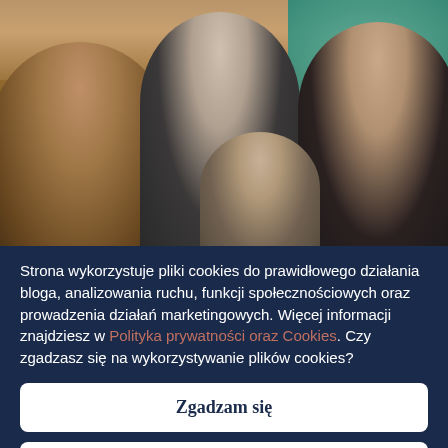[Figure (photo): A selfie photo of four people (three adults and one child) indoors, with wooden architectural elements and a teal/green decorative background visible. The leftmost person has a dark beard and glasses, the middle adult is a man with glasses, the right adult is a woman with glasses and dark hair, and a child with glasses is in front.]
Strona wykorzystuje pliki cookies do prawidłowego działania bloga, analizowania ruchu, funkcji społecznościowych oraz prowadzenia działań marketingowych. Więcej informacji znajdziesz w Polityka prywatności oraz Cookies. Czy zgadzasz się na wykorzystywanie plików cookies?
Zgadzam się
Wyłącz ciasteczka